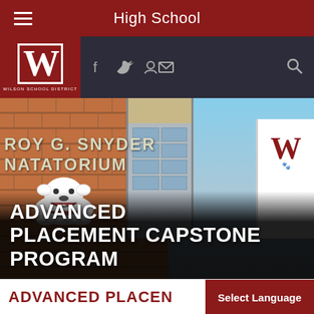High School
[Figure (screenshot): Wilson School District website screenshot showing logo with W, social media icons (Facebook, Twitter, email), search icon on dark header bar, and a hero photo of the school building featuring the Roy G. Snyder Natatorium brick facade with bulldog mascot, glass building, and a white building with W logo]
ADVANCED PLACEMENT CAPSTONE PROGRAM
ADVANCED PLACEN
Select Language